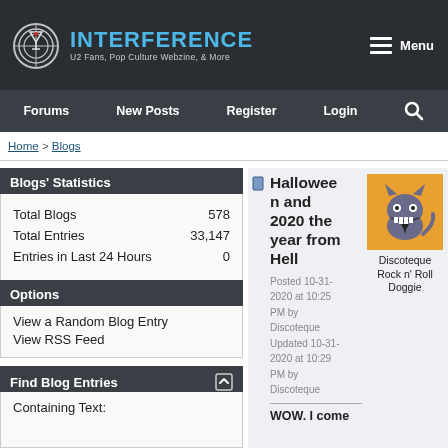INTERFERENCE — U2 Fans, Pop Culture Webzine, & More
Forums | New Posts | Register | Login | Search
Home > Blogs
Blogs' Statistics
|  |  |
| --- | --- |
| Total Blogs | 578 |
| Total Entries | 33,147 |
| Entries in Last 24 Hours | 0 |
Options
View a Random Blog Entry
View RSS Feed
Find Blog Entries
Containing Text:
Halloween and 2020 the year from Hell
Posted 10-31-2020 at 10:25 PM by Discoteque
Updated 10-31-2020 at 10:29 PM by Discoteque
[Figure (illustration): Cartoon cat avatar with grinning teeth on orange background]
Discoteque Rock n' Roll Doggie
WOW. I come